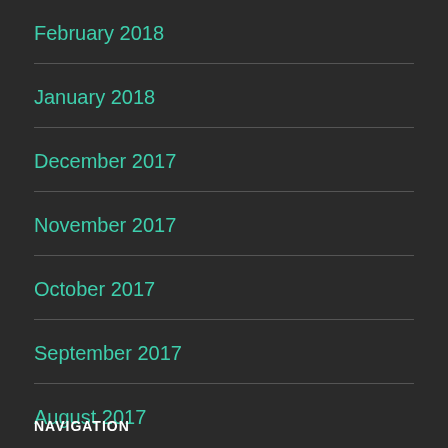February 2018
January 2018
December 2017
November 2017
October 2017
September 2017
August 2017
NAVIGATION